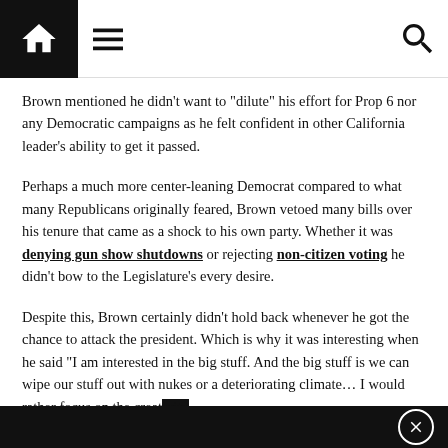Navigation bar with home, menu, and search icons
Brown mentioned he didn’t want to “dilute” his effort for Prop 6 nor any Democratic campaigns as he felt confident in other California leader’s ability to get it passed.
Perhaps a much more center-leaning Democrat compared to what many Republicans originally feared, Brown vetoed many bills over his tenure that came as a shock to his own party. Whether it was denying gun show shutdowns or rejecting non-citizen voting he didn’t bow to the Legislature’s every desire.
Despite this, Brown certainly didn’t hold back whenever he got the chance to attack the president. Which is why it was interesting when he said “I am interested in the big stuff. And the big stuff is we can wipe our stuff out with nukes or a deteriorating climate… I would rather focus on the creativity